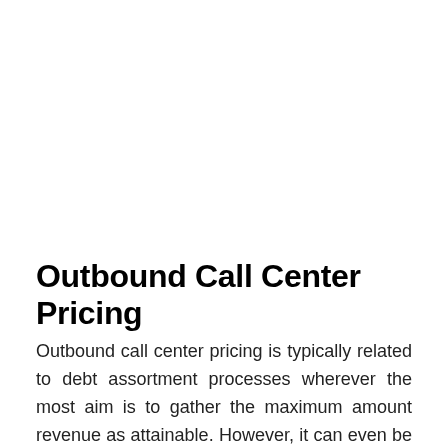Outbound Call Center Pricing
Outbound call center pricing is typically related to debt assortment processes wherever the most aim is to gather the maximum amount revenue as attainable. However, it can even be used as an efficient tool for providing client support and to take care of existing customers. Departing job ought to be